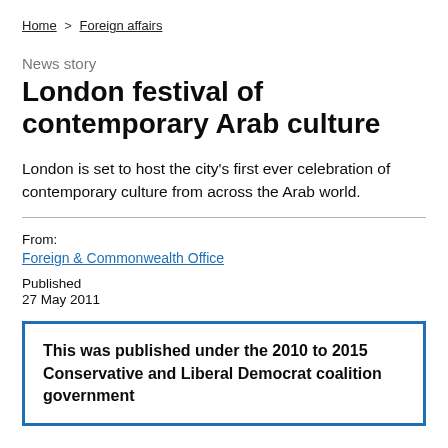Home > Foreign affairs
News story
London festival of contemporary Arab culture
London is set to host the city's first ever celebration of contemporary culture from across the Arab world.
From:
Foreign & Commonwealth Office
Published
27 May 2011
This was published under the 2010 to 2015 Conservative and Liberal Democrat coalition government